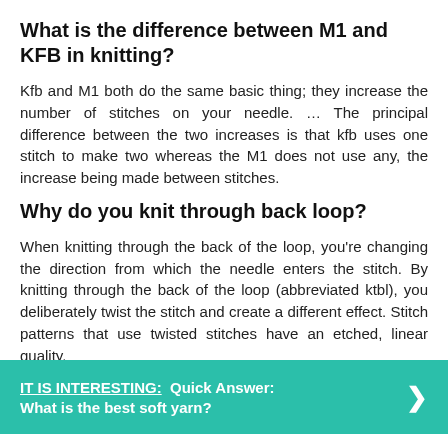What is the difference between M1 and KFB in knitting?
Kfb and M1 both do the same basic thing; they increase the number of stitches on your needle. … The principal difference between the two increases is that kfb uses one stitch to make two whereas the M1 does not use any, the increase being made between stitches.
Why do you knit through back loop?
When knitting through the back of the loop, you're changing the direction from which the needle enters the stitch. By knitting through the back of the loop (abbreviated ktbl), you deliberately twist the stitch and create a different effect. Stitch patterns that use twisted stitches have an etched, linear quality.
IT IS INTERESTING:  Quick Answer: What is the best soft yarn?